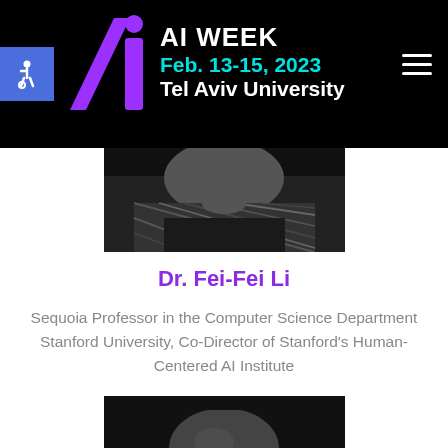AI WEEK Feb. 13-15, 2023 Tel Aviv University
[Figure (photo): Black and white photo of Dr. Fei-Fei Li, showing the lower portion of her face and a patterned scarf]
Dr. Fei-Fei Li
Sequoia Professor in the Computer Science Department Stanford University, Co-Director of Stanford's Human-Centered AI Institute
[Figure (photo): Black and white photo of a second speaker, showing top of head]